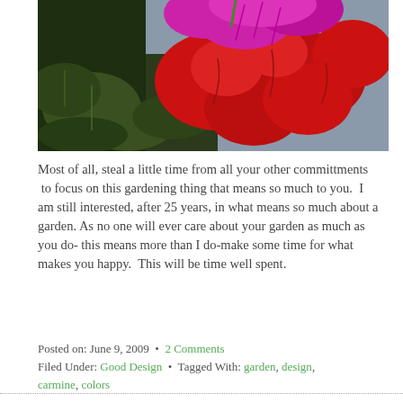[Figure (photo): Close-up photograph of bright red and magenta geranium flowers with green leaves against a grey background]
Most of all, steal a little time from all your other committments  to focus on this gardening thing that means so much to you.  I am still interested, after 25 years, in what means so much about a garden. As no one will ever care about your garden as much as you do- this means more than I do-make some time for what makes you happy.  This will be time well spent.
Posted on: June 9, 2009  •  2 Comments
Filed Under: Good Design  •  Tagged With: garden, design, carmine, colors